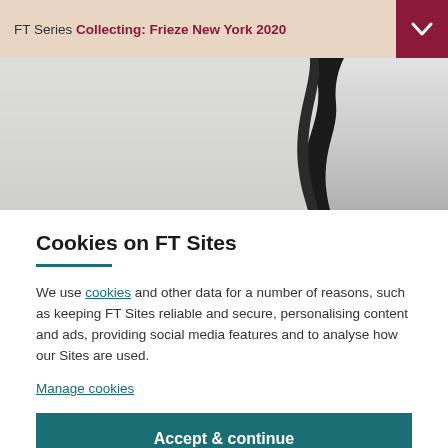FT Series Collecting: Frieze New York 2020
[Figure (photo): Partial photo of a dark sculptural object against a light grey/white background]
Cookies on FT Sites
We use cookies and other data for a number of reasons, such as keeping FT Sites reliable and secure, personalising content and ads, providing social media features and to analyse how our Sites are used.
Manage cookies
Accept & continue